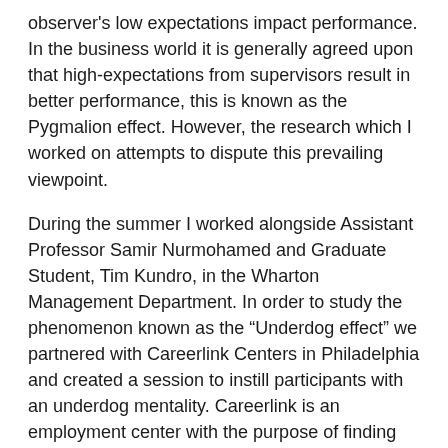observer's low expectations impact performance. In the business world it is generally agreed upon that high-expectations from supervisors result in better performance, this is known as the Pygmalion effect. However, the research which I worked on attempts to dispute this prevailing viewpoint.
During the summer I worked alongside Assistant Professor Samir Nurmohamed and Graduate Student, Tim Kundro, in the Wharton Management Department. In order to study the phenomenon known as the "Underdog effect" we partnered with Careerlink Centers in Philadelphia and created a session to instill participants with an underdog mentality. Careerlink is an employment center with the purpose of finding jobs for those who need it. In the hour-long session, jobseekers would be assigned to either the underdog, high expectations, or control condition. Their performance would ultimately be determined by their employment status 8 weeks after the initial survey.